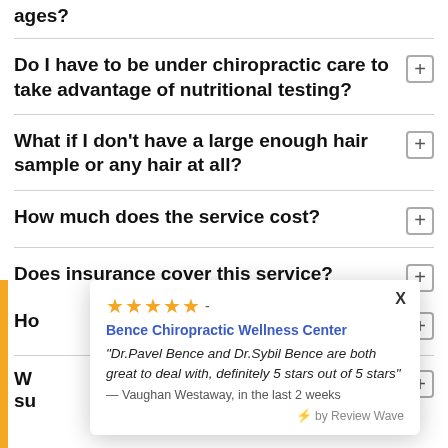ages?
Do I have to be under chiropractic care to take advantage of nutritional testing?
What if I don't have a large enough hair sample or any hair at all?
How much does the service cost?
Does insurance cover this service?
[Figure (screenshot): Review popup widget showing 5 stars and a testimonial for Bence Chiropractic Wellness Center. Quote: 'Dr.Pavel Bence and Dr.Sybil Bence are both great to deal with, definitely 5 stars out of 5 stars' — Vaughan Westaway, in the last 2 weeks. Powered by Review Wave.]